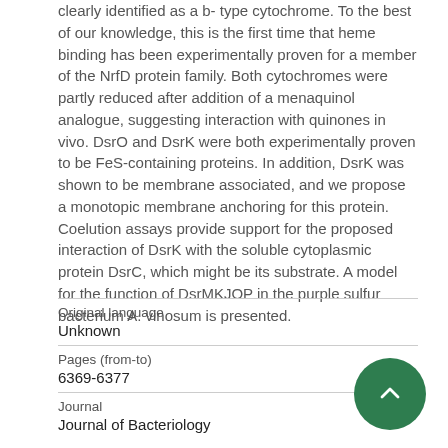clearly identified as a b- type cytochrome. To the best of our knowledge, this is the first time that heme binding has been experimentally proven for a member of the NrfD protein family. Both cytochromes were partly reduced after addition of a menaquinol analogue, suggesting interaction with quinones in vivo. DsrO and DsrK were both experimentally proven to be FeS-containing proteins. In addition, DsrK was shown to be membrane associated, and we propose a monotopic membrane anchoring for this protein. Coelution assays provide support for the proposed interaction of DsrK with the soluble cytoplasmic protein DsrC, which might be its substrate. A model for the function of DsrMKJOP in the purple sulfur bacterium A. vinosum is presented.
| Field | Value |
| --- | --- |
| Original language | Unknown |
| Pages (from-to) | 6369-6377 |
| Journal | Journal of Bacteriology |